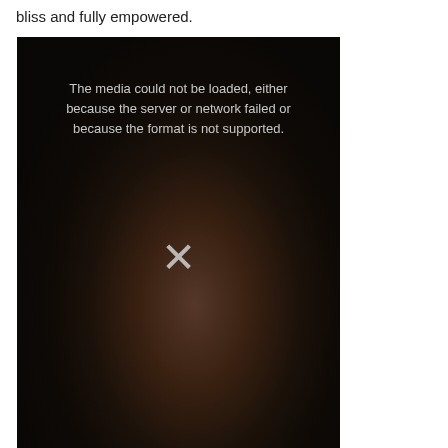bliss and fully empowered.
[Figure (photo): A dark, dimly lit close-up photo of a person with curly hair and dark lipstick, wearing a dark jacket. The image shows a media player error overlay with the text 'The media could not be loaded, either because the server or network failed or because the format is not supported.' and an X symbol in the center.]